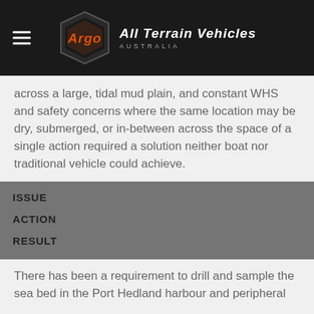Argo All Terrain Vehicles Australia
across a large, tidal mud plain, and constant WHS and safety concerns where the same location may be dry, submerged, or in-between across the space of a single action required a solution neither boat nor traditional vehicle could achieve.
ISSUE
ACTION
RESULT
There has been a requirement to drill and sample the sea bed in the Port Hedland harbour and peripheral